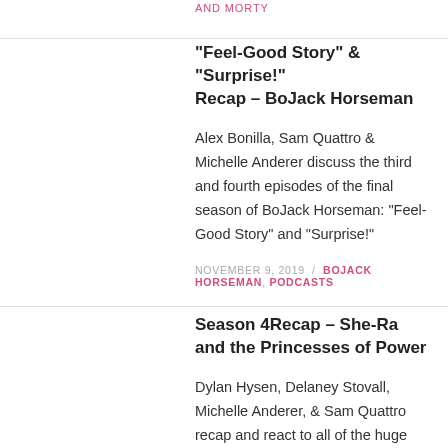AND MORTY
“Feel-Good Story” & “Surprise!” Recap – BoJack Horseman
Alex Bonilla, Sam Quattro & Michelle Anderer discuss the third and fourth episodes of the final season of BoJack Horseman: “Feel-Good Story” and “Surprise!”
NOVEMBER 9, 2019 / BOJACK HORSEMAN, PODCASTS
Season 4Recap – She-Ra and the Princesses of Power
Dylan Hysen, Delaney Stovall, Michelle Anderer, & Sam Quattro recap and react to all of the huge Season 4 of She-Ra and